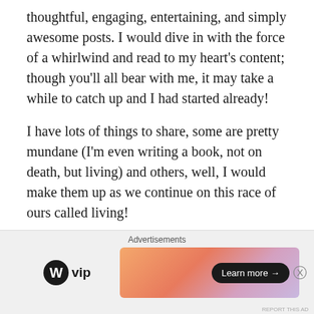thoughtful, engaging, entertaining, and simply awesome posts. I would dive in with the force of a whirlwind and read to my heart's content; though you'll all bear with me, it may take a while to catch up and I had started already!
I have lots of things to share, some are pretty mundane (I'm even writing a book, not on death, but living) and others, well, I would make them up as we continue on this race of ours called living!
Thanks once again my friends, your friendship and kindness made my time away bearable. I found my solace in God and You my friends
I love you guys! 🙂
[Figure (other): Advertisement banner with WordPress VIP logo and a colorful gradient ad with 'Learn more' button. Close button (X) on right.]